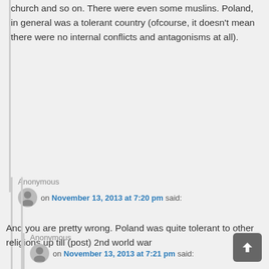church and so on. There were even some muslins. Poland, in general was a tolerant country (ofcourse, it doesn't mean there were no internal conflicts and antagonisms at all).
Anonymous on November 13, 2013 at 7:20 pm said:
And you are pretty wrong. Poland was quite tolerant to other religions up till (post) 2nd world war
Anonymous on November 13, 2013 at 7:21 pm said: